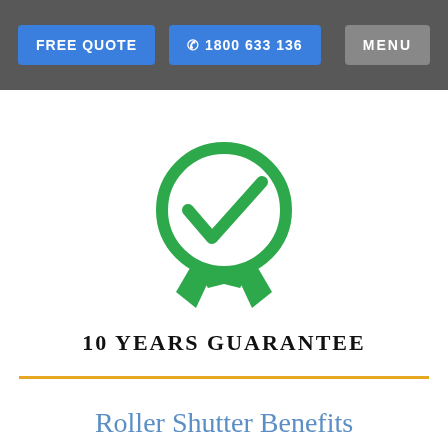FREE QUOTE   ☎ 1800 633 136   MENU
[Figure (illustration): Green award/guarantee badge icon with checkmark circle and two ribbon tails pointing downward]
10 YEARS GUARANTEE
Roller Shutter Benefits